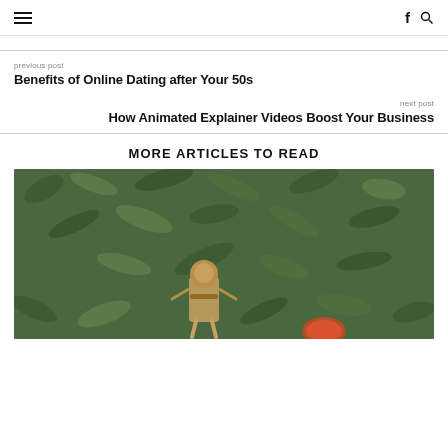≡  f 🔍
previous post
Benefits of Online Dating after Your 50s
next post
How Animated Explainer Videos Boost Your Business
MORE ARTICLES TO READ
[Figure (photo): Photo of a burlap/straw decorative figure against a dark green leafy background]